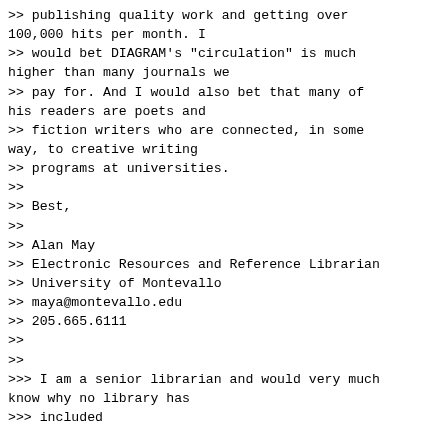>> publishing quality work and getting over
100,000 hits per month. I
>> would bet DIAGRAM's "circulation" is much
higher than many journals we
>> pay for. And I would also bet that many of
his readers are poets and
>> fiction writers who are connected, in some
way, to creative writing
>> programs at universities.
>>
>> Best,
>>
>> Alan May
>> Electronic Resources and Reference Librarian
>> University of Montevallo
>> maya@montevallo.edu
>> 205.665.6111
>>
>>
>>> I am a senior librarian and would very much
know why no library has
>>> included